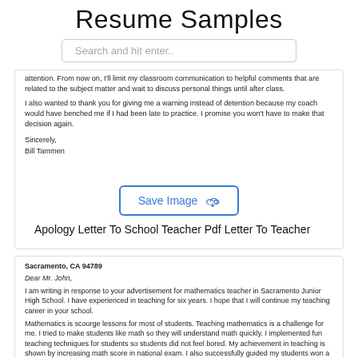Resume Samples
Search and hit enter..
attention. From now on, I'll limit my classroom communication to helpful comments that are related to the subject matter and wait to discuss personal things until after class.

I also wanted to thank you for giving me a warning instead of detention because my coach would have benched me if I had been late to practice. I promise you won't have to make that decision again.

Sincerely,
Bill Tammen
[Figure (screenshot): Save Image button with cloud upload icon, styled with blue border and text]
Apology Letter To School Teacher Pdf Letter To Teacher
Sacramento, CA 94789
Dear Mr. John,
I am writing in response to your advertisement for mathematics teacher in Sacramento Junior High School. I have experienced in teaching for six years. I hope that I will continue my teaching career in your school.
Mathematics is scourge lessons for most of students. Teaching mathematics is a challenge for me. I tried to make students like math so they will understand math quickly. I implemented fun teaching techniques for students so students did not feel bored. My achievement in teaching is shown by increasing math score in national exam. I also successfully guided my students won a national mathematics competition. More information about my achievements is available in my resume.
I graduated Bachelor Degree of Mathematics from University of California. After graduated my college, I received scholarship for master program in mathematics at the same university.
Above the sentences are my abilities. I hope that...